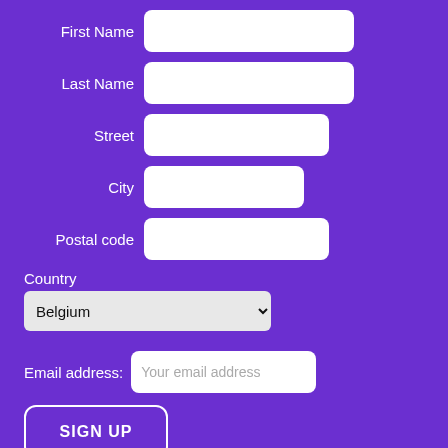First Name
Last Name
Street
City
Postal code
Country
Belgium
Email address:
Your email address
SIGN UP